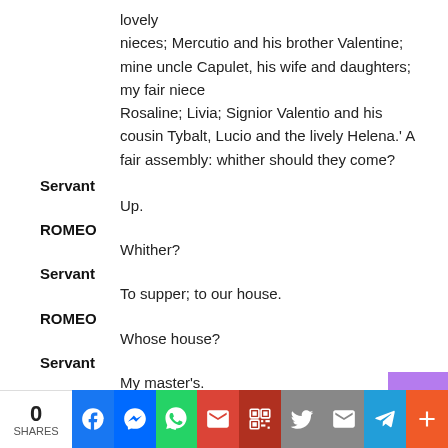lovely
nieces; Mercutio and his brother Valentine; mine uncle Capulet, his wife and daughters; my fair niece
Rosaline; Livia; Signior Valentio and his cousin Tybalt, Lucio and the lively Helena.' A fair assembly: whither should they come?
Servant
Up.
ROMEO
Whither?
Servant
To supper; to our house.
ROMEO
Whose house?
Servant
My master's.
ROMEO
0 SHARES | Facebook | Messenger | WhatsApp | Gmail | QR | Twitter | Email | Telegram | More